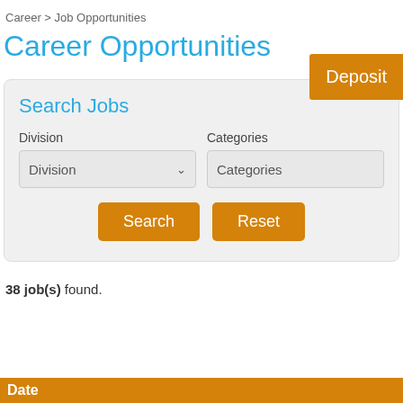Career > Job Opportunities
Career Opportunities
Search Jobs
Division
Categories
38 job(s) found.